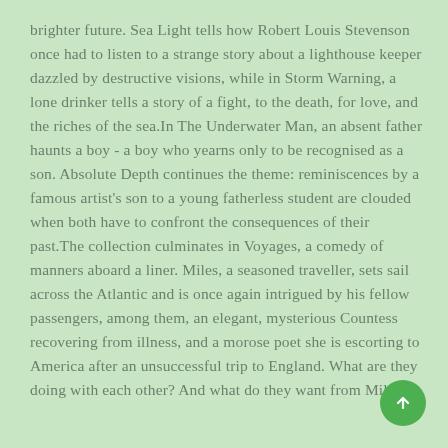brighter future. Sea Light tells how Robert Louis Stevenson once had to listen to a strange story about a lighthouse keeper dazzled by destructive visions, while in Storm Warning, a lone drinker tells a story of a fight, to the death, for love, and the riches of the sea.In The Underwater Man, an absent father haunts a boy - a boy who yearns only to be recognised as a son. Absolute Depth continues the theme: reminiscences by a famous artist's son to a young fatherless student are clouded when both have to confront the consequences of their past.The collection culminates in Voyages, a comedy of manners aboard a liner. Miles, a seasoned traveller, sets sail across the Atlantic and is once again intrigued by his fellow passengers, among them, an elegant, mysterious Countess recovering from illness, and a morose poet she is escorting to America after an unsuccessful trip to England. What are they doing with each other? And what do they want from Miles?